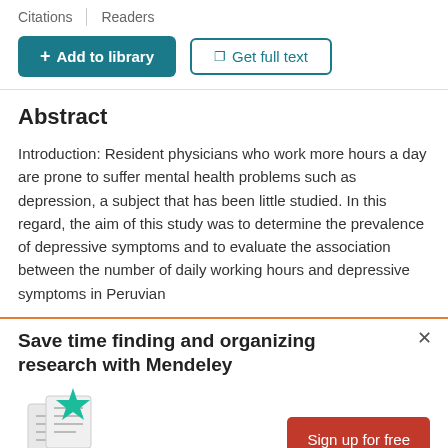Citations   Readers
+ Add to library
Get full text
Abstract
Introduction: Resident physicians who work more hours a day are prone to suffer mental health problems such as depression, a subject that has been little studied. In this regard, the aim of this study was to determine the prevalence of depressive symptoms and to evaluate the association between the number of daily working hours and depressive symptoms in Peruvian
Save time finding and organizing research with Mendeley
Sign up for free